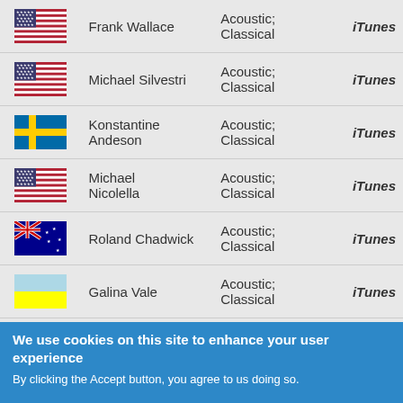| Flag | Name | Genre | Link |
| --- | --- | --- | --- |
| USA | Frank Wallace | Acoustic; Classical | iTunes |
| USA | Michael Silvestri | Acoustic; Classical | iTunes |
| Sweden | Konstantine Andeson | Acoustic; Classical | iTunes |
| USA | Michael Nicolella | Acoustic; Classical | iTunes |
| Australia | Roland Chadwick | Acoustic; Classical | iTunes |
| Ukraine | Galina Vale | Acoustic; Classical | iTunes |
| USA | Mario Otero | Electric; | iTunes |
We use cookies on this site to enhance your user experience
By clicking the Accept button, you agree to us doing so.